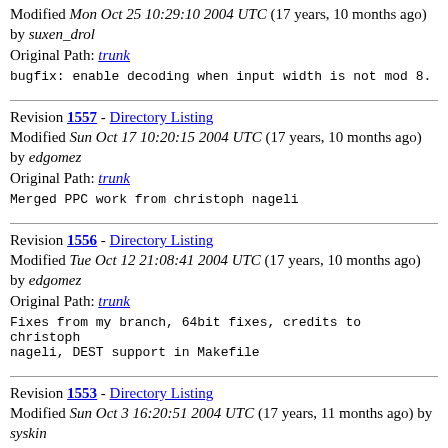Modified Mon Oct 25 10:29:10 2004 UTC (17 years, 10 months ago) by suxen_drol
Original Path: trunk
bugfix: enable decoding when input width is not mod 8.
Revision 1557 - Directory Listing
Modified Sun Oct 17 10:20:15 2004 UTC (17 years, 10 months ago) by edgomez
Original Path: trunk
Merged PPC work from christoph nageli
Revision 1556 - Directory Listing
Modified Tue Oct 12 21:08:41 2004 UTC (17 years, 10 months ago) by edgomez
Original Path: trunk
Fixes from my branch, 64bit fixes, credits to christoph nageli, DEST support in Makefile
Revision 1553 - Directory Listing
Modified Sun Oct 3 16:20:51 2004 UTC (17 years, 11 months ago) by syskin
Original Path: trunk